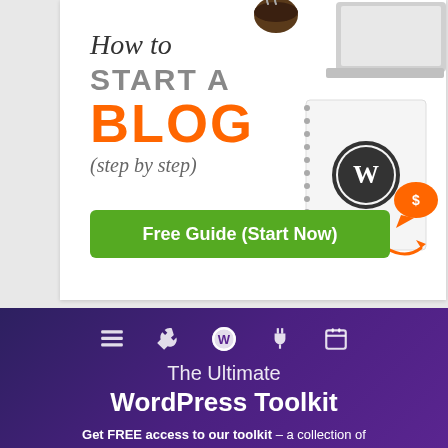[Figure (infographic): How to Start a BLOG (step by step) banner with WordPress notebook illustration, coffee cup, laptop, and a green 'Free Guide (Start Now)' button]
[Figure (infographic): Purple/dark gradient section with 5 white icons (table, tools, WordPress logo, plug, calendar) above text reading 'The Ultimate WordPress Toolkit' and 'Get FREE access to our toolkit – a collection of WordPress related products and resources that']